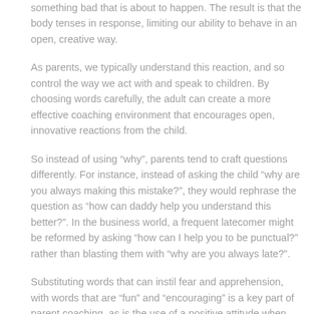something bad that is about to happen. The result is that the body tenses in response, limiting our ability to behave in an open, creative way.
As parents, we typically understand this reaction, and so control the way we act with and speak to children. By choosing words carefully, the adult can create a more effective coaching environment that encourages open, innovative reactions from the child.
So instead of using “why”, parents tend to craft questions differently. For instance, instead of asking the child “why are you always making this mistake?”, they would rephrase the question as “how can daddy help you understand this better?”. In the business world, a frequent latecomer might be reformed by asking “how can I help you to be punctual?” rather than blasting them with “why are you always late?”.
Substituting words that can instil fear and apprehension, with words that are “fun” and “encouraging” is a key part of parent coaching, as is the use of a positive attitude when highlighting the child’s mistakes. Celebrating both successes and failures